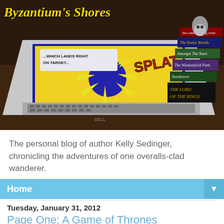[Figure (photo): Header photo showing a laptop computer displaying a comic book scene with 'SPLAT' text, next to a stack of books including Lord of the Rings and other fantasy novels, on a cluttered desk. A small Totoro figure sits atop the books.]
Byzantium's Shores
The personal blog of author Kelly Sedinger, chronicling the adventures of one overalls-clad wanderer.
Home
Tuesday, January 31, 2012
Page One: A Game of Thrones